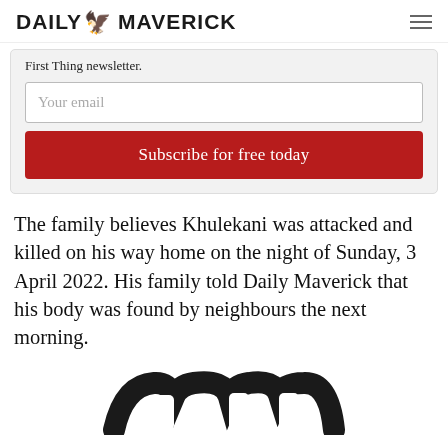DAILY MAVERICK
First Thing newsletter.
Your email
Subscribe for free today
The family believes Khulekani was attacked and killed on his way home on the night of Sunday, 3 April 2022. His family told Daily Maverick that his body was found by neighbours the next morning.
[Figure (logo): Partial logo at bottom of page, dark curved shapes visible]